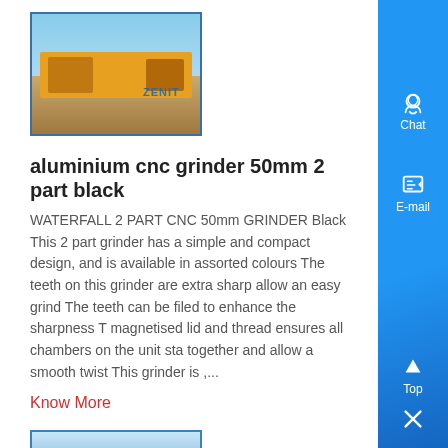[Figure (photo): Mining or quarry machinery/equipment at an outdoor site, with yellow heavy machinery and a blue sky background. A watermark reading 'ZENIT' is visible.]
aluminium cnc grinder 50mm 2 part black
WATERFALL 2 PART CNC 50mm GRINDER Black This 2 part grinder has a simple and compact design, and is available in assorted colours The teeth on this grinder are extra sharp allow an easy grind The teeth can be filed to enhance the sharpness The magnetised lid and thread ensures all chambers on the unit stay together and allow a smooth twist This grinder is ,...
Know More
[Figure (photo): Partial view of another product image at the bottom of the page, appears to be a blue-toned industrial/machinery photo.]